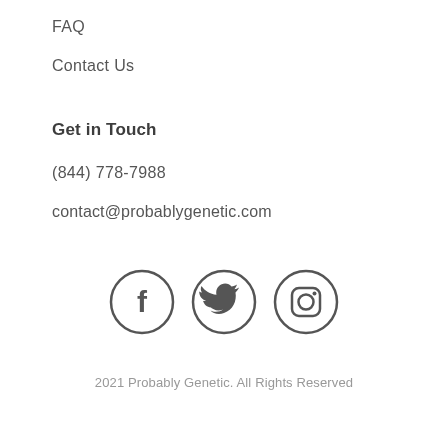FAQ
Contact Us
Get in Touch
(844) 778-7988
contact@probablygenetic.com
[Figure (illustration): Three social media icons in circles: Facebook (F), Twitter (bird), Instagram (camera)]
2021 Probably Genetic. All Rights Reserved